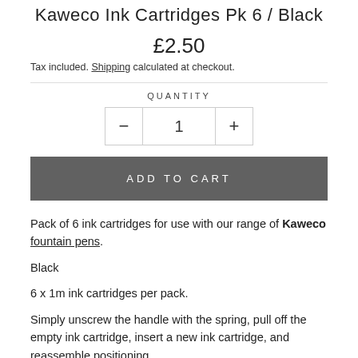Kaweco Ink Cartridges Pk 6 / Black
£2.50
Tax included. Shipping calculated at checkout.
QUANTITY
1
ADD TO CART
Pack of 6 ink cartridges for use with our range of Kaweco fountain pens.
Black
6 x 1m ink cartridges per pack.
Simply unscrew the handle with the spring, pull off the empty ink cartridge, insert a new ink cartridge, and reassemble positioning